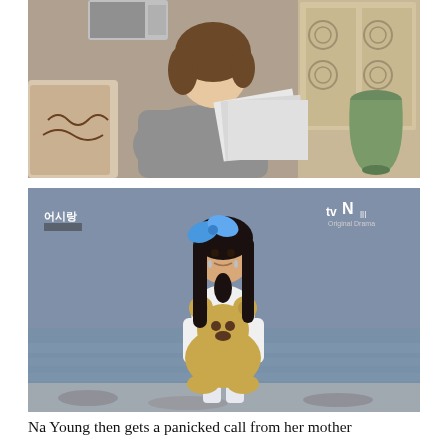[Figure (photo): A woman with short curly hair wearing a grey sweater sits on a sofa reading papers, with decorative pillows and a green vase in the background.]
[Figure (photo): A young girl with long dark hair and a blue bow, wearing a colorful outfit, stands outdoors near water holding a large stuffed teddy bear. The image has tvN Original Drama watermark.]
Na Young then gets a panicked call from her mother